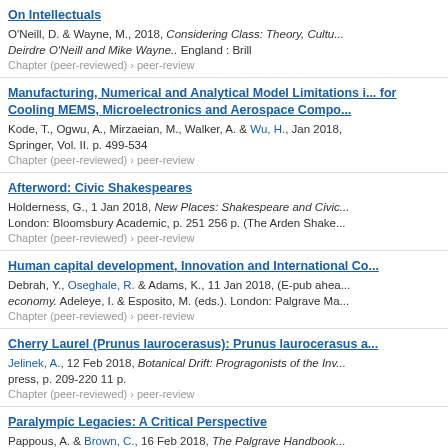On Intellectuals
O'Neill, D. & Wayne, M., 2018, Considering Class: Theory, Cultu... Deirdre O'Neill and Mike Wayne.. England : Brill
Chapter (peer-reviewed) › peer-review
Manufacturing, Numerical and Analytical Model Limitations i... for Cooling MEMS, Microelectronics and Aerospace Compo...
Kode, T., Ogwu, A., Mirzaeian, M., Walker, A. & Wu, H., Jan 2018, Springer, Vol. II. p. 499-534
Chapter (peer-reviewed) › peer-review
Afterword: Civic Shakespeares
Holderness, G., 1 Jan 2018, New Places: Shakespeare and Civic... London: Bloomsbury Academic, p. 251 256 p. (The Arden Shake...
Chapter (peer-reviewed) › peer-review
Human capital development, Innovation and International Co...
Debrah, Y., Oseghale, R. & Adams, K., 11 Jan 2018, (E-pub ahea... economy. Adeleye, I. & Esposito, M. (eds.). London: Palgrave Ma...
Chapter (peer-reviewed) › peer-review
Cherry Laurel (Prunus laurocerasus): Prunus laurocerasus a...
Jelinek, A., 12 Feb 2018, Botanical Drift: Progragonists of the Inv... press, p. 209-220 11 p.
Chapter (peer-reviewed) › peer-review
Paralympic Legacies: A Critical Perspective
Pappous, A. & Brown, C., 16 Feb 2018, The Palgrave Handbook... (eds.). London: Palgrave Macmillan, p. 647-664
Chapter (peer-reviewed) › peer-review
Planning Care
Petty, J., 1 Mar 2018, Children and Young People's Nursing Skill... (eds.). John Wiley & Sons
Chapter (peer-reviewed) › peer-review